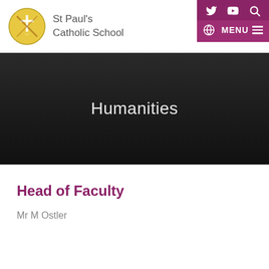St Paul's Catholic School
Humanities
Head of Faculty
Mr M Ostler